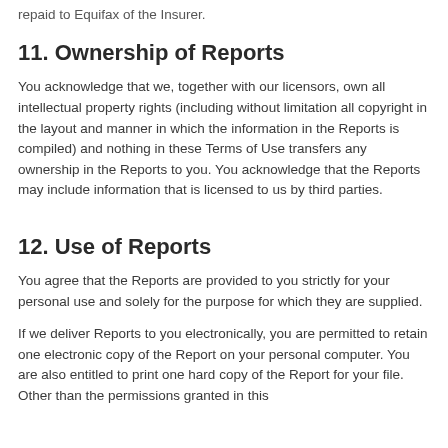repaid to Equifax of the Insurer.
11. Ownership of Reports
You acknowledge that we, together with our licensors, own all intellectual property rights (including without limitation all copyright in the layout and manner in which the information in the Reports is compiled) and nothing in these Terms of Use transfers any ownership in the Reports to you. You acknowledge that the Reports may include information that is licensed to us by third parties.
12. Use of Reports
You agree that the Reports are provided to you strictly for your personal use and solely for the purpose for which they are supplied.
If we deliver Reports to you electronically, you are permitted to retain one electronic copy of the Report on your personal computer. You are also entitled to print one hard copy of the Report for your file. Other than the permissions granted in this